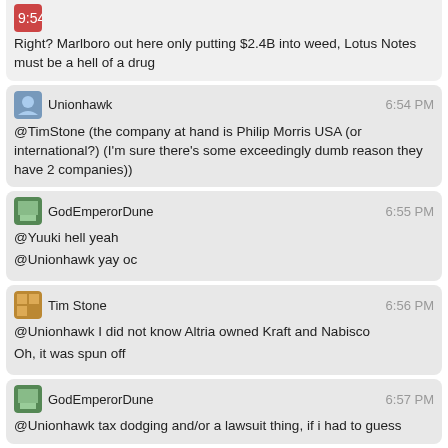Right? Marlboro out here only putting $2.4B into weed, Lotus Notes must be a hell of a drug
Unionhawk 6:54 PM @TimStone (the company at hand is Philip Morris USA (or international?) (I'm sure there's some exceedingly dumb reason they have 2 companies))
GodEmperorDune 6:55 PM @Yuuki hell yeah @Unionhawk yay oc
Tim Stone 6:56 PM @Unionhawk I did not know Altria owned Kraft and Nabisco Oh, it was spun off
GodEmperorDune 6:57 PM @Unionhawk tax dodging and/or a lawsuit thing, if i had to guess
Unionhawk 6:57 PM this is too many companies what is altria the philip morris Alphabet
Tim Stone 6:57 PM We need to put a stop to companies until we figure this out
Unionhawk 6:57 PM